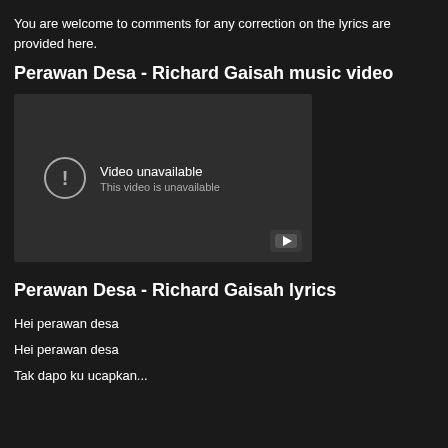You are welcome to comments for any correction on the lyrics are provided here.
Perawan Desa - Richard Gaisah music video
[Figure (screenshot): Embedded YouTube video player showing 'Video unavailable - This video is unavailable' message with an exclamation mark icon and YouTube logo button in the bottom right corner.]
Perawan Desa - Richard Gaisah lyrics
Hei perawan desa
Hei perawan desa
Tak dapo ku ucapkan...